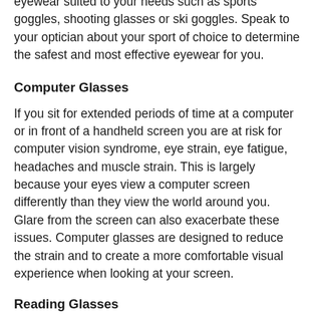eyewear suited to your needs such as sports goggles, shooting glasses or ski goggles. Speak to your optician about your sport of choice to determine the safest and most effective eyewear for you.
Computer Glasses
If you sit for extended periods of time at a computer or in front of a handheld screen you are at risk for computer vision syndrome, eye strain, eye fatigue, headaches and muscle strain. This is largely because your eyes view a computer screen differently than they view the world around you. Glare from the screen can also exacerbate these issues. Computer glasses are designed to reduce the strain and to create a more comfortable visual experience when looking at your screen.
Reading Glasses
As we approach the age of 40, our near vision begins to weaken – a condition called presbyopia. This can be corrected by wearing reading glasses when reading or doing close work. There are a number of options for reading glasses